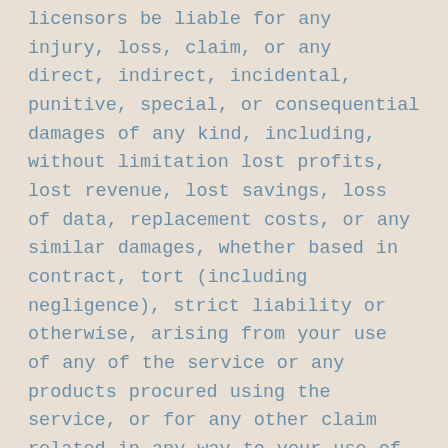licensors be liable for any injury, loss, claim, or any direct, indirect, incidental, punitive, special, or consequential damages of any kind, including, without limitation lost profits, lost revenue, lost savings, loss of data, replacement costs, or any similar damages, whether based in contract, tort (including negligence), strict liability or otherwise, arising from your use of any of the service or any products procured using the service, or for any other claim related in any way to your use of the service or any product, including, but not limited to, any errors or omissions in any content, or any loss or damage of any kind incurred as a result of the use of the service or any content (or product) posted, transmitted, or otherwise made available via the service, even if advised of their possibility. Because some states or jurisdictions do not allow